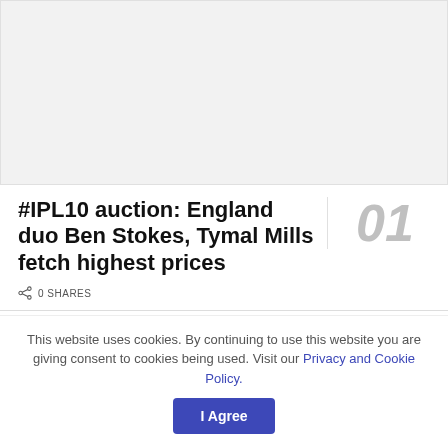[Figure (other): Advertisement placeholder — light grey rectangle]
#IPL10 auction: England duo Ben Stokes, Tymal Mills fetch highest prices
0 SHARES
This website uses cookies. By continuing to use this website you are giving consent to cookies being used. Visit our Privacy and Cookie Policy.
I Agree